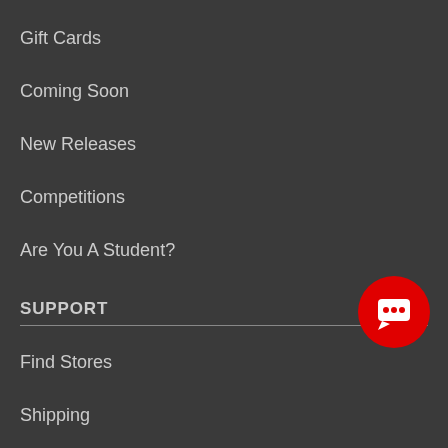Gift Cards
Coming Soon
New Releases
Competitions
Are You A Student?
SUPPORT
Find Stores
Shipping
Careers
Help
Blog
Contact Us
FOLLOW US
[Figure (illustration): Red circular chat/messaging button with speech bubble icon in bottom right corner]